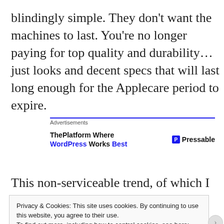blindingly simple. They don't want the machines to last. You're no longer paying for top quality and durability…just looks and decent specs that will last long enough for the Applecare period to expire.
[Figure (other): Advertisement banner: 'ThePlatform Where WordPress Works Best' with Pressable logo]
This non-serviceable trend, of which I am not
Privacy & Cookies: This site uses cookies. By continuing to use this website, you agree to their use.
To find out more, including how to control cookies, see here: Cookie Policy